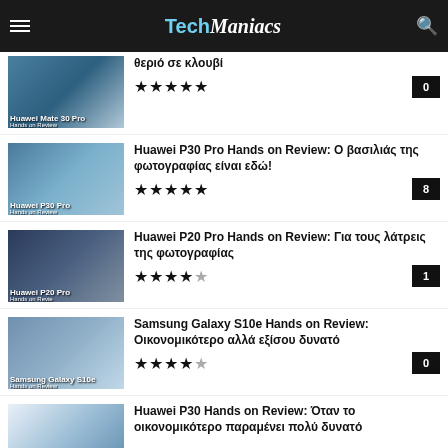TechManiacs
θεριό σε κλουβί — Rating: 5 stars, Comments: 0
Huawei P30 Pro Hands on Review: Ο βασιλιάς της φωτογραφίας είναι εδώ! — Rating: 5 stars, Comments: 8
Huawei P20 Pro Hands on Review: Για τους λάτρεις της φωτογραφίας — Rating: 4.5 stars, Comments: 1
Samsung Galaxy S10e Hands on Review: Οικονομικότερο αλλά εξίσου δυνατό — Rating: 4.5 stars, Comments: 0
Huawei P30 Hands on Review: Όταν το οικονομικότερο παραμένει πολύ δυνατό